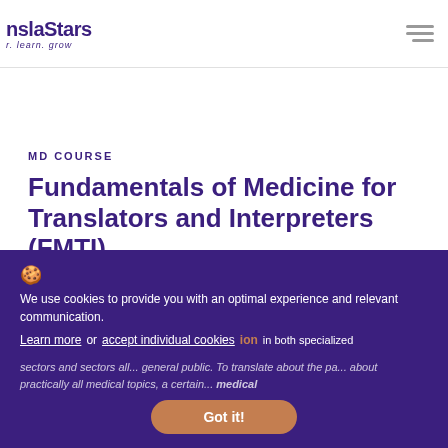nslaStars - r. learn. grow
MD COURSE
Fundamentals of Medicine for Translators and Interpreters (FMTI)
The field of medical translation is a specialty that moves hundreds of millions of euros every year and requires well-trained professionals to be able to face... increase in the ... ion in both specialized sectors and sectors all... general public. To translate about the pa... about practically all medical topics, a certain... medical
We use cookies to provide you with an optimal experience and relevant communication. Learn more or accept individual cookies Got it!